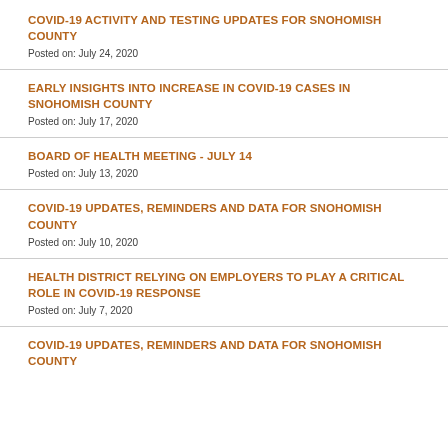COVID-19 ACTIVITY AND TESTING UPDATES FOR SNOHOMISH COUNTY
Posted on: July 24, 2020
EARLY INSIGHTS INTO INCREASE IN COVID-19 CASES IN SNOHOMISH COUNTY
Posted on: July 17, 2020
BOARD OF HEALTH MEETING - JULY 14
Posted on: July 13, 2020
COVID-19 UPDATES, REMINDERS AND DATA FOR SNOHOMISH COUNTY
Posted on: July 10, 2020
HEALTH DISTRICT RELYING ON EMPLOYERS TO PLAY A CRITICAL ROLE IN COVID-19 RESPONSE
Posted on: July 7, 2020
COVID-19 UPDATES, REMINDERS AND DATA FOR SNOHOMISH COUNTY